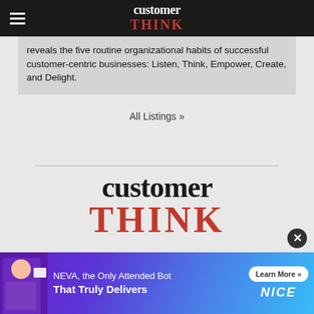customer THINK
reveals the five routine organizational habits of successful customer-centric businesses: Listen, Think, Empower, Create, and Delight.
All Listings »
[Figure (logo): CustomerThink logo — 'customer' in black serif, 'THINK' in bold red serif below]
[Figure (infographic): Advertisement banner: NEVA, the Only Attended Bot That Truly Delivers — Learn More — NICE]